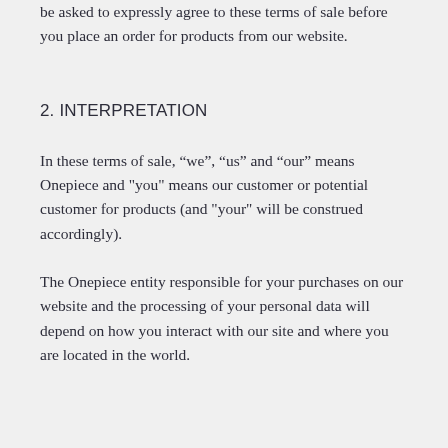be asked to expressly agree to these terms of sale before you place an order for products from our website.
2. INTERPRETATION
In these terms of sale, “we”, “us” and “our” means Onepiece and "you" means our customer or potential customer for products (and "your" will be construed accordingly).
The Onepiece entity responsible for your purchases on our website and the processing of your personal data will depend on how you interact with our site and where you are located in the world.